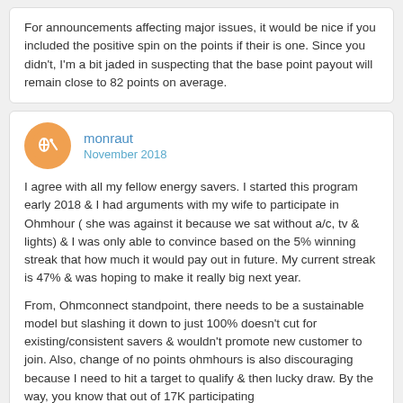For announcements affecting major issues, it would be nice if you included the positive spin on the points if their is one. Since you didn't, I'm a bit jaded in suspecting that the base point payout will remain close to 82 points on average.
monraut
November 2018
I agree with all my fellow energy savers. I started this program early 2018 & I had arguments with my wife to participate in Ohmhour ( she was against it because we sat without a/c, tv & lights) & I was only able to convince based on the 5% winning streak that how much it would pay out in future. My current streak is 47% & was hoping to make it really big next year.
From, Ohmconnect standpoint, there needs to be a sustainable model but slashing it down to just 100% doesn't cut for existing/consistent savers & wouldn't promote new customer to join. Also, change of no points ohmhours is also discouraging because I need to hit a target to qualify & then lucky draw. By the way, you know that out of 17K participating